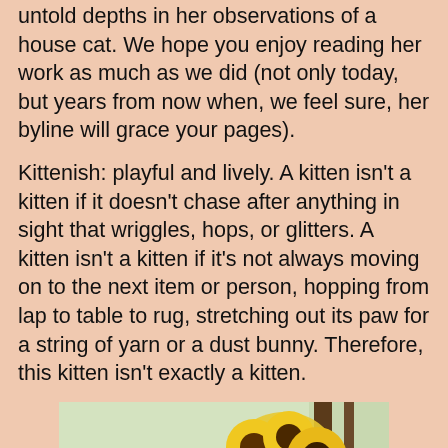untold depths in her observations of a house cat. We hope you enjoy reading her work as much as we did (not only today, but years from now when, we feel sure, her byline will grace your pages).
Kittenish: playful and lively. A kitten isn't a kitten if it doesn't chase after anything in sight that wriggles, hops, or glitters. A kitten isn't a kitten if it's not always moving on to the next item or person, hopping from lap to table to rug, stretching out its paw for a string of yarn or a dust bunny. Therefore, this kitten isn't exactly a kitten.
[Figure (photo): A gray cat lying on a surface with its face pressed down, next to a vase of sunflowers, in front of a window with natural light outside.]
It has its paws folded under its bulky belly, face pressed against the swing hanging from the ceiling of a quiet living